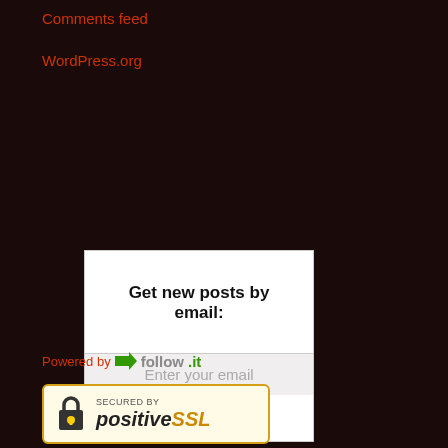Comments feed
WordPress.org
[Figure (screenshot): Email subscription widget with 'Get new posts by email:' heading, an email input field placeholder, and an orange Subscribe button]
Powered by follow.it
[Figure (logo): Secured by positiveSSL badge with a padlock icon]